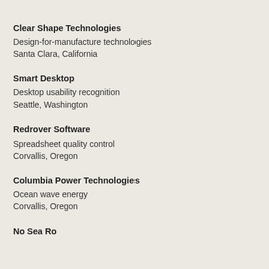Clear Shape Technologies
Design-for-manufacture technologies
Santa Clara, California
Smart Desktop
Desktop usability recognition
Seattle, Washington
Redrover Software
Spreadsheet quality control
Corvallis, Oregon
Columbia Power Technologies
Ocean wave energy
Corvallis, Oregon
No Sea Ro...